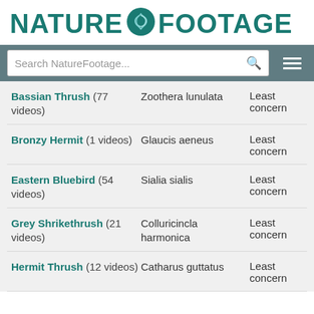NATURE FOOTAGE
[Figure (screenshot): Search bar with 'Search NatureFootage...' placeholder and hamburger menu button on teal background]
Bassian Thrush (77 videos) | Zoothera lunulata | Least concern
Bronzy Hermit (1 videos) | Glaucis aeneus | Least concern
Eastern Bluebird (54 videos) | Sialia sialis | Least concern
Grey Shrikethrush (21 videos) | Colluricincla harmonica | Least concern
Hermit Thrush (12 videos) | Catharus guttatus | Least concern